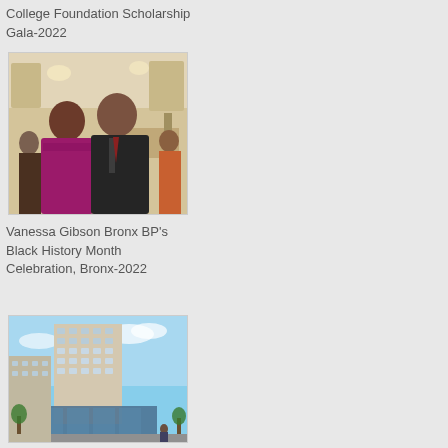College Foundation Scholarship Gala-2022
[Figure (photo): Two people posing at an indoor event venue, woman in magenta/pink dress on left, man in dark suit on right, banquet setting in background]
Vanessa Gibson Bronx BP's Black History Month Celebration, Bronx-2022
[Figure (photo): Architectural rendering of a modern multi-story building with glass facade and retail at ground level, street scene with people]
L+M Development Partners & Team A...